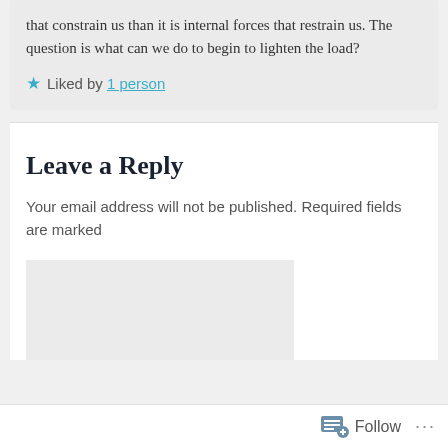that constrain us than it is internal forces that restrain us. The question is what can we do to begin to lighten the load?
★ Liked by 1 person
Leave a Reply
Your email address will not be published. Required fields are marked
[Figure (screenshot): Empty comment text area input box with light grey background]
Follow ...